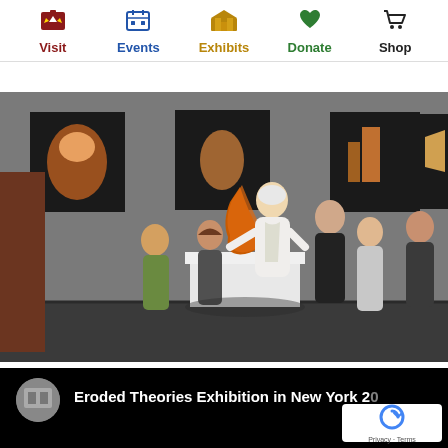Visit | Events | Exhibits | Donate | Shop
[Figure (photo): Art gallery interior showing people gathered around an orange sculptural piece on a white pedestal. An elderly man in white clothing is presenting the sculpture to a group of visitors including children. Dark-framed abstract artworks hang on the gray walls in the background.]
[Figure (screenshot): YouTube video thumbnail with black background showing title 'Eroded Theories Exhibition in New York 20...' with a circular channel icon on the left. A reCAPTCHA badge appears in the bottom right corner showing 'Privacy - Terms'.]